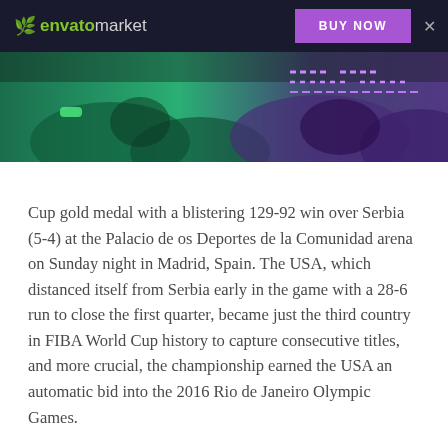envato market — BUY NOW
[Figure (photo): Sports action photo with green/teal and purple tones showing athletes, partially visible at top of page]
Cup gold medal with a blistering 129-92 win over Serbia (5-4) at the Palacio de os Deportes de la Comunidad arena on Sunday night in Madrid, Spain. The USA, which distanced itself from Serbia early in the game with a 28-6 run to close the first quarter, became just the third country in FIBA World Cup history to capture consecutive titles, and more crucial, the championship earned the USA an automatic bid into the 2016 Rio de Janeiro Olympic Games.